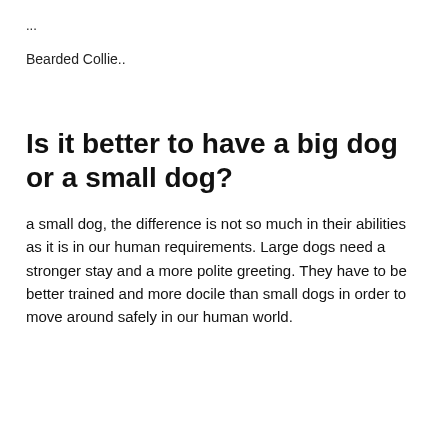...
Bearded Collie..
Is it better to have a big dog or a small dog?
a small dog, the difference is not so much in their abilities as it is in our human requirements. Large dogs need a stronger stay and a more polite greeting. They have to be better trained and more docile than small dogs in order to move around safely in our human world.